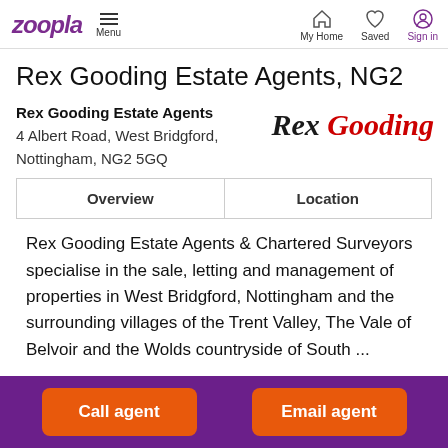Zoopla | Menu | My Home | Saved | Sign in
Rex Gooding Estate Agents, NG2
Rex Gooding Estate Agents
4 Albert Road, West Bridgford, Nottingham, NG2 5GQ
[Figure (logo): Rex Gooding logo in italic script, 'Rex' in black and 'Gooding' in red]
| Overview | Location |
| --- | --- |
Rex Gooding Estate Agents & Chartered Surveyors specialise in the sale, letting and management of properties in West Bridgford, Nottingham and the surrounding villages of the Trent Valley, The Vale of Belvoir and the Wolds countryside of South ...
Call agent | Email agent